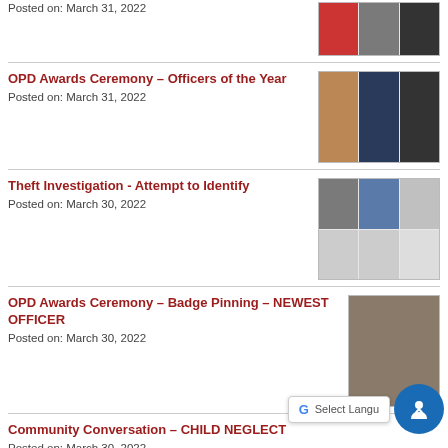Posted on: March 31, 2022
[Figure (photo): Three small thumbnail photos of police officers]
OPD Awards Ceremony – Officers of the Year
Posted on: March 31, 2022
[Figure (photo): Three thumbnail photos of officers in uniform]
Theft Investigation - Attempt to Identify
Posted on: March 30, 2022
[Figure (photo): Five thumbnail photos: three mugshots and two car photos]
OPD Awards Ceremony – Badge Pinning – NEWEST OFFICER
Posted on: March 30, 2022
[Figure (photo): Single photo of police officer pinning badge ceremony]
Community Conversation – CHILD NEGLECT
Posted on: March 30, 2022
Update - Shots Fired Incident
Posted on: March 29, 2022